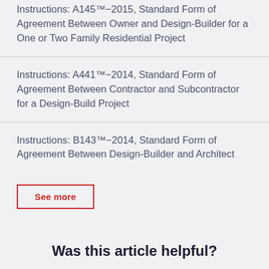Instructions: A145™−2015, Standard Form of Agreement Between Owner and Design-Builder for a One or Two Family Residential Project
Instructions: A441™−2014, Standard Form of Agreement Between Contractor and Subcontractor for a Design-Build Project
Instructions: B143™−2014, Standard Form of Agreement Between Design-Builder and Architect
See more
Was this article helpful?